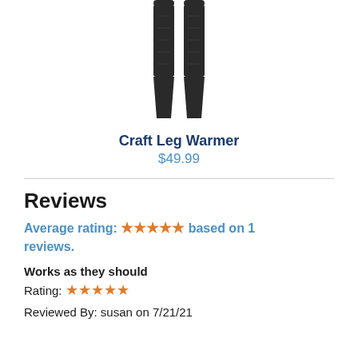[Figure (photo): Product photo of black Craft Leg Warmer leggings/tights, shown from waist to ankle against white background]
Craft Leg Warmer
$49.99
Reviews
Average rating: ★★★★★ based on 1 reviews.
Works as they should
Rating: ★★★★★
Reviewed By: susan on 7/21/21